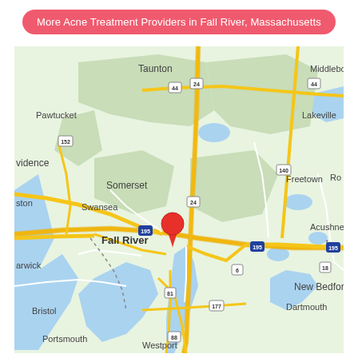More Acne Treatment Providers in Fall River, Massachusetts
[Figure (map): Google Maps view centered on Fall River, Massachusetts, showing surrounding cities including Taunton, Middleborough, Lakeville, Freetown, Somerset, Swansea, Bristol, Tiverton, Portsmouth, New Bedford, Dartmouth, Westport, Acushnet, and partial views of Providence/Pawtucket area to the west. A red location pin marks Fall River. Major roads including I-195, Route 24, Route 44, Route 140, Route 81, Route 177, Route 6, Route 88, Route 18, and Route 152 are visible.]